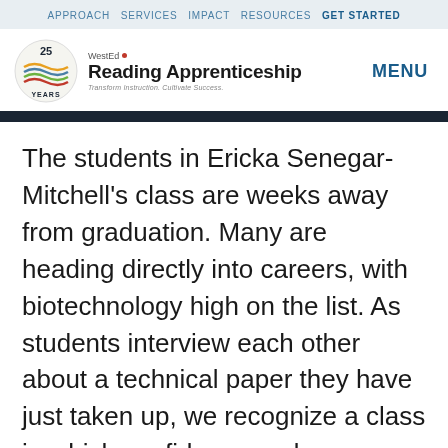APPROACH  SERVICES  IMPACT  RESOURCES  GET STARTED
[Figure (logo): WestEd Reading Apprenticeship 25 Years logo with colorful wave/book icon and tagline 'Transform Instruction. Cultivate Success.']
MENU
The students in Ericka Senegar-Mitchell's class are weeks away from graduation. Many are heading directly into careers, with biotechnology high on the list. As students interview each other about a technical paper they have just taken up, we recognize a class in which confidence and competence have emerged from consistent